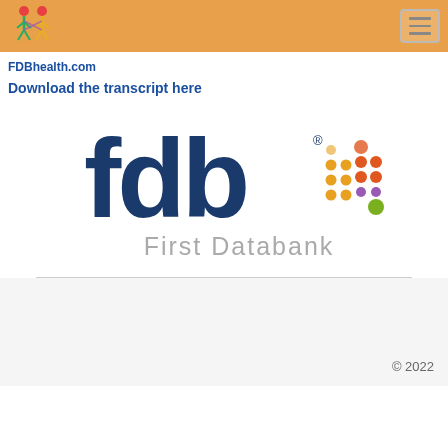Pharmacist's Letter / Prescriber's Letter
FDBhealth.com
Download the transcript here
[Figure (logo): First Databank (fdb) logo with colorful dots and 'First Databank' text below]
© 2022